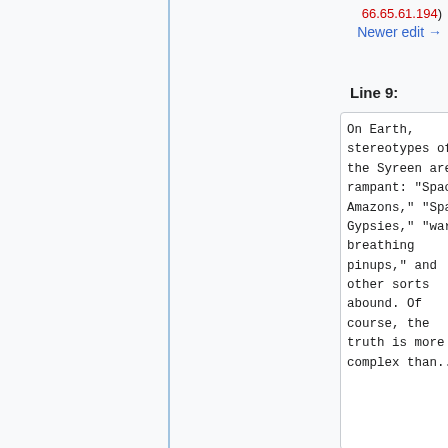66.65.61.194)
Newer edit →
Line 9:
Line 9:
On Earth, stereotypes of the Syreen are rampant: "Space Amazons," "Space Gypsies," "warm, breathing pinups," and other sorts abound. Of course, the truth is more complex than...
On Earth, stereotypes of the Syreen are rampant: "Space Amazons," "Space Gypsies," "warm, breathing pinups," and other sorts abound. Of course, the truth is more complex than...